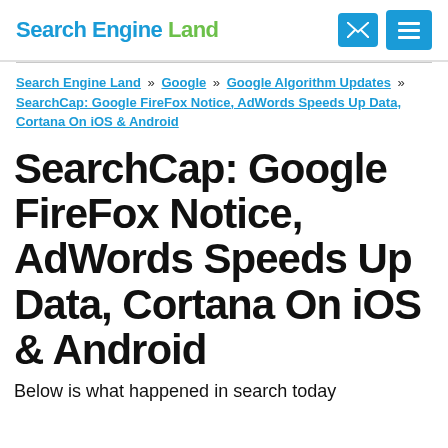Search Engine Land
Search Engine Land » Google » Google Algorithm Updates » SearchCap: Google FireFox Notice, AdWords Speeds Up Data, Cortana On iOS & Android
SearchCap: Google FireFox Notice, AdWords Speeds Up Data, Cortana On iOS & Android
Below is what happened in search today